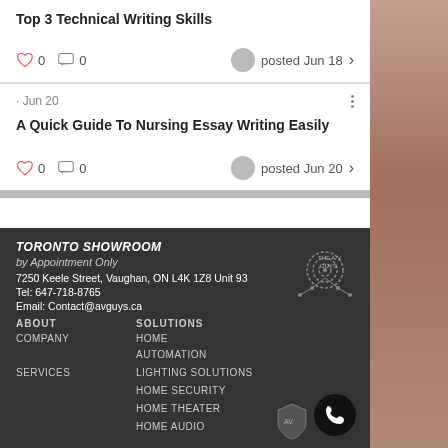Top 3 Technical Writing Skills
0   0   posted Jun 18
· Jun 20
A Quick Guide To Nursing Essay Writing Easily
0   0   posted Jun 20
TORONTO SHOWROOM
by Appointment Only
7250 Keele Street, Vaughan, ON L4K 1Z8 Unit 93
Tel: 647-718-8765
Email: Contact@avguys.ca
ABOUT   SOLUTIONS
COMPANY   HOME AUTOMATION
SERVICES   LIGHTING SOLUTIONS
HOME SECURITY
HOME THEATER
HOME AUDIO
[Figure (logo): THE AV GUYS logo with wifi/network icon]